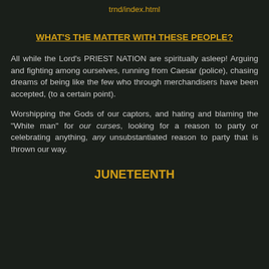trnd/index.html
WHAT'S THE MATTER WITH THESE PEOPLE?
All while the Lord's PRIEST NATION are spiritually asleep! Arguing and fighting among ourselves, running from Caesar (police), chasing dreams of being like the few who through merchandisers have been accepted, (to a certain point).
Worshipping the Gods of our captors, and hating and blaming the "White man" for our curses, looking for a reason to party or celebrating anything, any unsubstantiated reason to party that is thrown our way.
JUNETEENTH